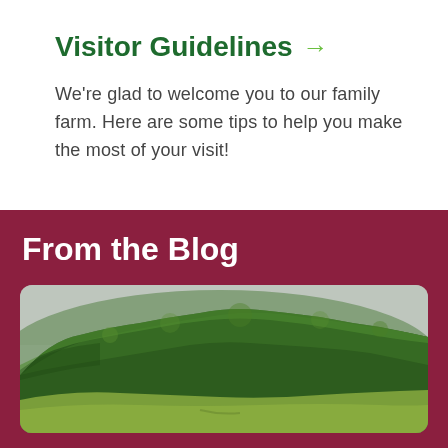Visitor Guidelines →
We're glad to welcome you to our family farm. Here are some tips to help you make the most of your visit!
From the Blog
[Figure (photo): Aerial/landscape photo of a forested hillside with green trees and a grassy field in the foreground, overcast sky.]